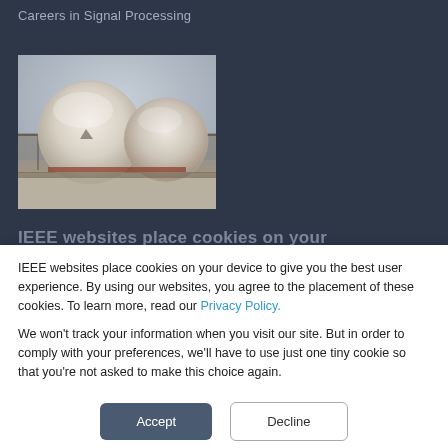Careers in Signal Processing
[Figure (photo): Two large white radome structures (radar domes) in a snowy outdoor setting, with industrial scaffolding visible in the background.]
IEEE websites place cookies on your
IEEE websites place cookies on your device to give you the best user experience. By using our websites, you agree to the placement of these cookies. To learn more, read our Privacy Policy.

We won't track your information when you visit our site. But in order to comply with your preferences, we'll have to use just one tiny cookie so that you're not asked to make this choice again.